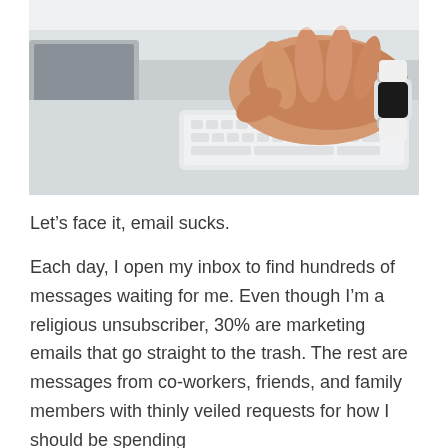[Figure (photo): A hand wearing a white Apple Watch typing on a white Apple keyboard on a light grey desk surface, with a laptop partially visible on the left edge.]
Let's face it, email sucks.
Each day, I open my inbox to find hundreds of messages waiting for me. Even though I'm a religious unsubscriber, 30% are marketing emails that go straight to the trash. The rest are messages from co-workers, friends, and family members with thinly veiled requests for how I should be spending